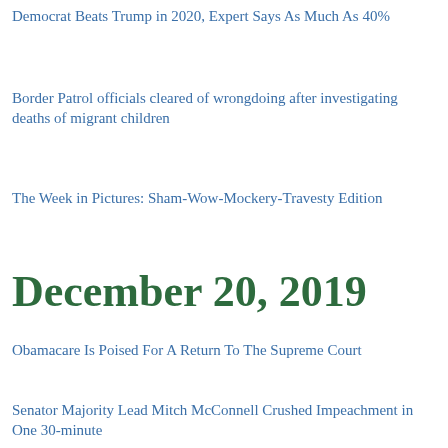Democrat Beats Trump in 2020, Expert Says As Much As 40%
Border Patrol officials cleared of wrongdoing after investigating deaths of migrant children
The Week in Pictures: Sham-Wow-Mockery-Travesty Edition
December 20, 2019
Obamacare Is Poised For A Return To The Supreme Court
Senator Majority Lead Mitch McConnell Crushed Impeachment in One 30-minute